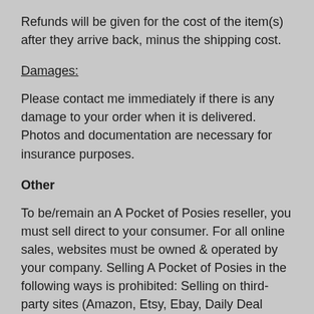Refunds will be given for the cost of the item(s) after they arrive back, minus the shipping cost.
Damages:
Please contact me immediately if there is any damage to your order when it is delivered. Photos and documentation are necessary for insurance purposes.
Other
To be/remain an A Pocket of Posies reseller, you must sell direct to your consumer. For all online sales, websites must be owned & operated by your company. Selling A Pocket of Posies in the following ways is prohibited: Selling on third-party sites (Amazon, Etsy, Ebay, Daily Deal Sites, etc.), drop-shipping sites (Buy.com, Overstock.com, etc), classified sites (Craigslist, Facebook Marketplace, etc.), as well as selling in bulk to B2B